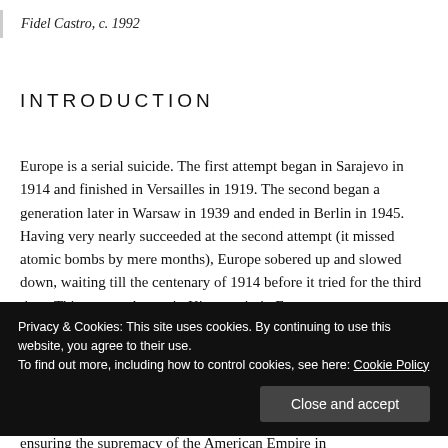Fidel Castro, c. 1992
INTRODUCTION
Europe is a serial suicide. The first attempt began in Sarajevo in 1914 and finished in Versailles in 1919. The second began a generation later in Warsaw in 1939 and ended in Berlin in 1945. Having very nearly succeeded at the second attempt (it missed atomic bombs by mere months), Europe sobered up and slowed down, waiting till the centenary of 1914 before it tried for the third time. This attempt began in Kiev, again in Eastern
Privacy & Cookies: This site uses cookies. By continuing to use this website, you agree to their use.
To find out more, including how to control cookies, see here: Cookie Policy
Close and accept
ensuring the supremacy of the American Empire in